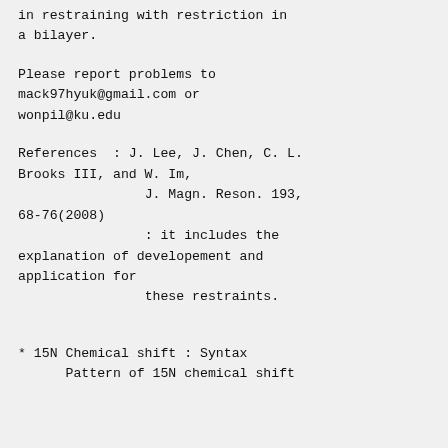in restraining with restriction in a bilayer.
Please report problems to mack97hyuk@gmail.com or wonpil@ku.edu
References  : J. Lee, J. Chen, C. L. Brooks III, and W. Im,
                J. Magn. Reson. 193, 68-76(2008)
                : it includes the explanation of developement and application for
                these restraints.
* 15N Chemical shift : Syntax
      Pattern of 15N chemical shift